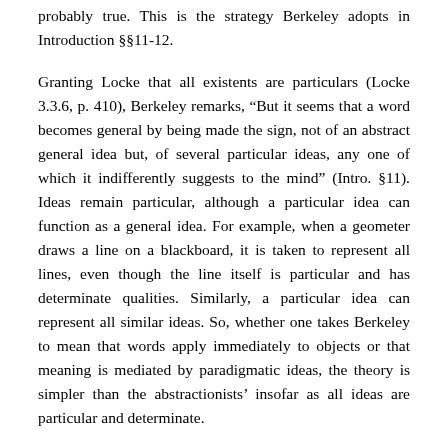probably true. This is the strategy Berkeley adopts in Introduction §§11-12.
Granting Locke that all existents are particulars (Locke 3.3.6, p. 410), Berkeley remarks, “But it seems that a word becomes general by being made the sign, not of an abstract general idea but, of several particular ideas, any one of which it indifferently suggests to the mind” (Intro. §11). Ideas remain particular, although a particular idea can function as a general idea. For example, when a geometer draws a line on a blackboard, it is taken to represent all lines, even though the line itself is particular and has determinate qualities. Similarly, a particular idea can represent all similar ideas. So, whether one takes Berkeley to mean that words apply immediately to objects or that meaning is mediated by paradigmatic ideas, the theory is simpler than the abstractionists’ insofar as all ideas are particular and determinate.
In Introduction §13, Berkeley turns to Locke’s abstract general